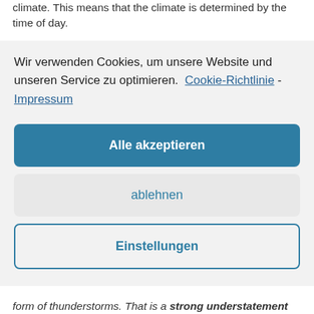climate. This means that the climate is determined by the time of day.
Wir verwenden Cookies, um unsere Website und unseren Service zu optimieren.  Cookie-Richtlinie - Impressum
Alle akzeptieren
ablehnen
Einstellungen
form of thunderstorms. That is a strong understatement